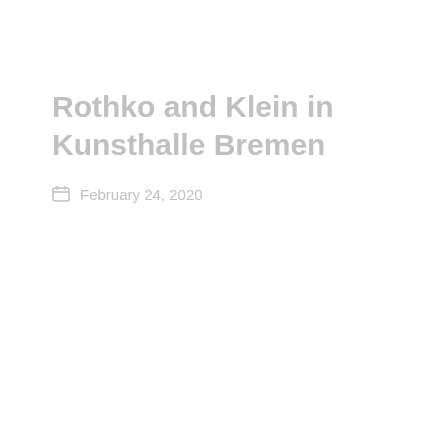Rothko and Klein in Kunsthalle Bremen
February 24, 2020